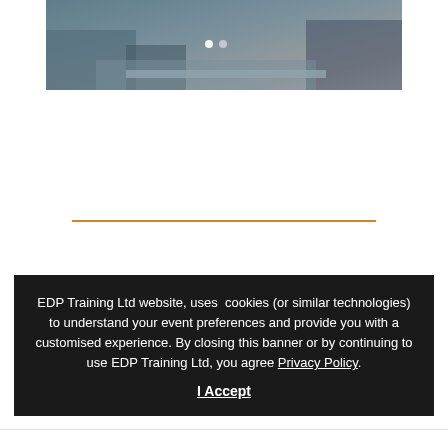[Figure (photo): Photo of people in a meeting room, partially visible at the top of the page with navigation dots overlay]
EDP Training Ltd website, uses cookies (or similar technologies) to understand your event preferences and provide you with a customised experience. By closing this banner or by continuing to use EDP Training Ltd, you agree Privacy Policy. I Accept